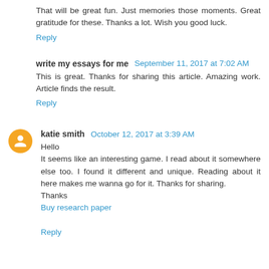That will be great fun. Just memories those moments. Great gratitude for these. Thanks a lot. Wish you good luck.
Reply
write my essays for me  September 11, 2017 at 7:02 AM
This is great. Thanks for sharing this article. Amazing work. Article finds the result.
Reply
katie smith  October 12, 2017 at 3:39 AM
Hello
It seems like an interesting game. I read about it somewhere else too. I found it different and unique. Reading about it here makes me wanna go for it. Thanks for sharing.
Thanks
Buy research paper
Reply